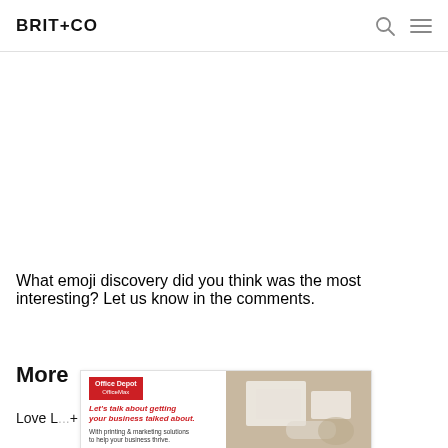BRIT+CO
What emoji discovery did you think was the most interesting? Let us know in the comments.
More
[Figure (screenshot): Advertisement banner for Office Depot OfficeMax with text 'Let's talk about getting your business talked about. With printing & marketing solutions to help your business thrive.' and a Learn more button, alongside a photo of office supplies.]
Love L... + Co